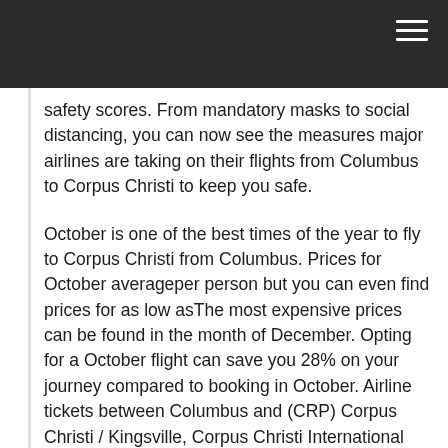safety scores. From mandatory masks to social distancing, you can now see the measures major airlines are taking on their flights from Columbus to Corpus Christi to keep you safe.
October is one of the best times of the year to fly to Corpus Christi from Columbus. Prices for October averageper person but you can even find prices for as low asThe most expensive prices can be found in the month of December. Opting for a October flight can save you 28% on your journey compared to booking in October. Airline tickets between Columbus and (CRP) Corpus Christi / Kingsville, Corpus Christi International Airport are cheaper on Tuesday, Wednesday or Thursday. To get lowest flight ticket prices on Columbus - (CRP) Corpus Christi / Kingsville, Corpus Christi International